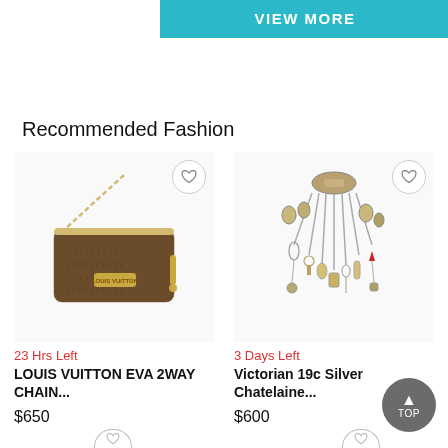[Figure (other): Teal/cyan VIEW MORE button bar at top center]
Recommended Fashion
[Figure (photo): Louis Vuitton EVA 2WAY chain bag in brown monogram canvas with gold chain strap]
23 Hrs Left
LOUIS VUITTON EVA 2WAY CHAIN...
$650
[Figure (photo): Victorian 19c Silver Chatelaine collection with multiple hanging tools and charms]
3 Days Left
Victorian 19c Silver Chatelaine...
$600